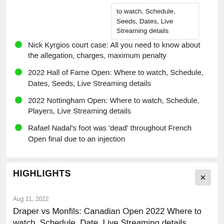to watch, Schedule, Seeds, Dates, Live Streaming details
Nick Kyrgios court case: All you need to know about the allegation, charges, maximum penalty
2022 Hall of Fame Open: Where to watch, Schedule, Dates, Seeds, Live Streaming details
2022 Nottingham Open: Where to watch, Schedule, Players, Live Streaming details
Rafael Nadal's foot was 'dead' throughout French Open final due to an injection
HIGHLIGHTS
Aug 11, 2022
Draper vs Monfils: Canadian Open 2022 Where to watch, Schedule, Date, Live Streaming details